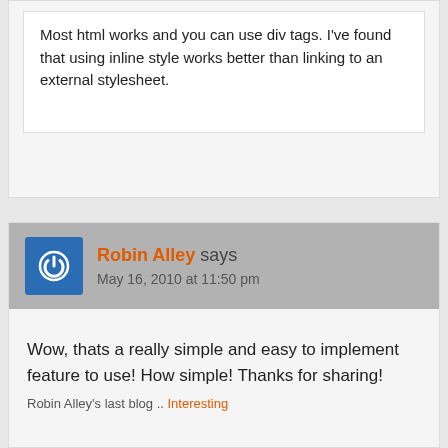Most html works and you can use div tags. I've found that using inline style works better than linking to an external stylesheet.
Robin Alley says
May 16, 2010 at 11:50 pm
Wow, thats a really simple and easy to implement feature to use! How simple! Thanks for sharing!